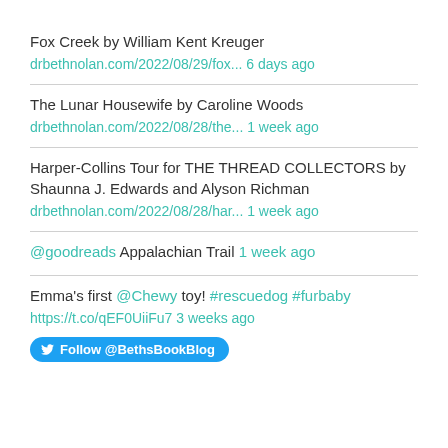Fox Creek by William Kent Kreuger
drbethnolan.com/2022/08/29/fox... 6 days ago
The Lunar Housewife by Caroline Woods
drbethnolan.com/2022/08/28/the... 1 week ago
Harper-Collins Tour for THE THREAD COLLECTORS by Shaunna J. Edwards and Alyson Richman
drbethnolan.com/2022/08/28/har... 1 week ago
@goodreads Appalachian Trail 1 week ago
Emma's first @Chewy toy! #rescuedog #furbaby
https://t.co/qEF0UiiFu7 3 weeks ago
Follow @BethsBookBlog